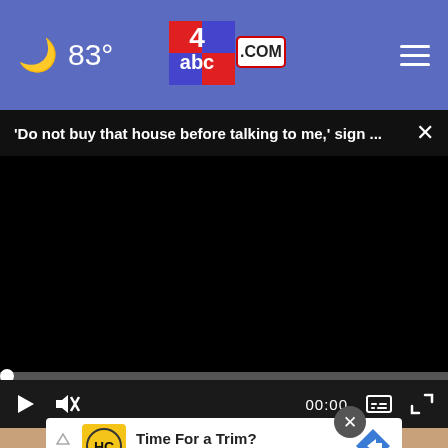🌙 83° abc4.COM ≡
'Do not buy that house before talking to me,' sign ... ×
[Figure (screenshot): Black video player area, paused at 00:00 with play button, mute button, captions button, and fullscreen button controls]
compared.com
[Figure (screenshot): Advertisement banner: HC Hair Cuttery logo with yellow background, text 'Time For a Trim? Hair Cuttery' with blue diamond arrow icon on right]